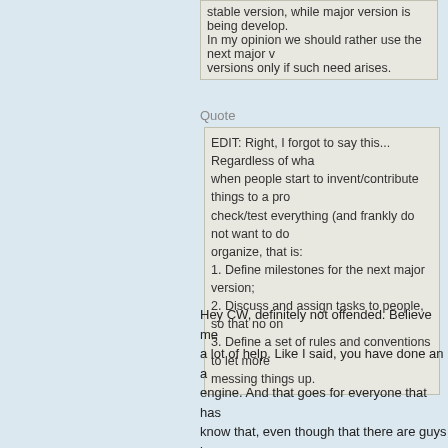stable version, while major version is being develop. In my opinion we should rather use the next major versions only if such need arises.
Quote
EDIT: Right, I forgot to say this... Regardless of wha when people start to invent/contribute things to a pro check/test everything (and frankly do not want to do organize, that is:
1. Define milestones for the next major version;
2. Discuss and assign tasks to people, so that no on
3. Define a set of rules and conventions to let more messing things up.
Hey CW, definitely not offended. Believe me a lot of help. Like I said, you have done an a engine. And that goes for everyone that has know that, even though that there are guys k cents to help, that it can be difficult to hear a people. The community would still like to hel unsure who to goto to offer this help. While t the leaders of the development of AGS, we a wants to step up or many may feel that it is n beneficial. Maybe the community can vote o on picking one? Don't know. We should leav